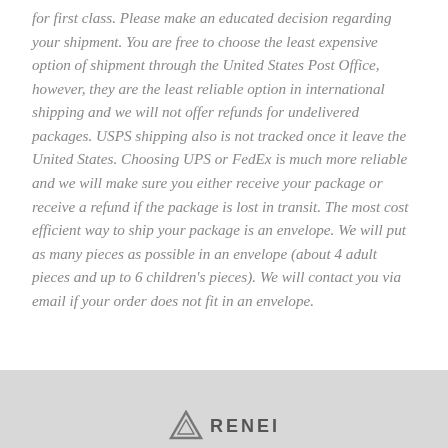for first class. Please make an educated decision regarding your shipment. You are free to choose the least expensive option of shipment through the United States Post Office, however, they are the least reliable option in international shipping and we will not offer refunds for undelivered packages. USPS shipping also is not tracked once it leave the United States. Choosing UPS or FedEx is much more reliable and we will make sure you either receive your package or receive a refund if the package is lost in transit. The most cost efficient way to ship your package is an envelope. We will put as many pieces as possible in an envelope (about 4 adult pieces and up to 6 children's pieces). We will contact you via email if your order does not fit in an envelope.
[Figure (logo): Company logo with triangle/mountain icon and text 'RENEI' or similar brand name at the bottom footer]